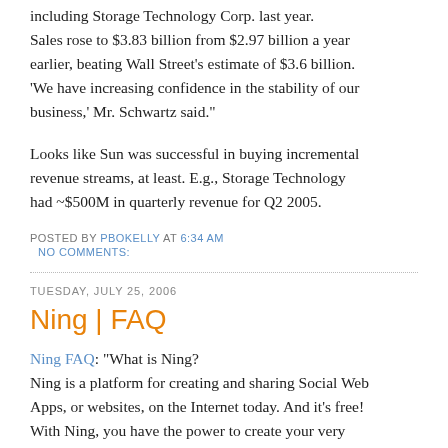including Storage Technology Corp. last year. Sales rose to $3.83 billion from $2.97 billion a year earlier, beating Wall Street's estimate of $3.6 billion. 'We have increasing confidence in the stability of our business,' Mr. Schwartz said."
Looks like Sun was successful in buying incremental revenue streams, at least. E.g., Storage Technology had ~$500M in quarterly revenue for Q2 2005.
POSTED BY PBOKELLY AT 6:34 AM
  NO COMMENTS:
TUESDAY, JULY 25, 2006
Ning | FAQ
Ning FAQ: "What is Ning? Ning is a platform for creating and sharing Social Web Apps, or websites, on the Internet today. And it's free! With Ning, you have the power to create your very own Social Web App in a few easy steps."